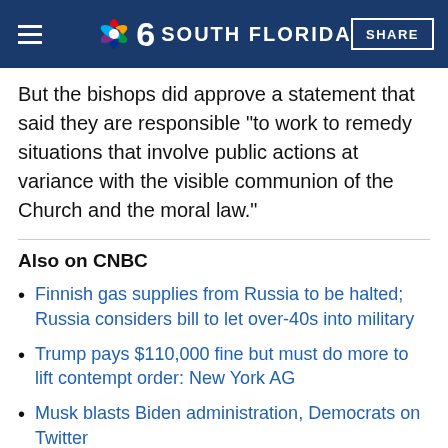NBC 6 SOUTH FLORIDA — SHARE
But the bishops did approve a statement that said they are responsible "to work to remedy situations that involve public actions at variance with the visible communion of the Church and the moral law."
Also on CNBC
Finnish gas supplies from Russia to be halted; Russia considers bill to let over-40s into military
Trump pays $110,000 fine but must do more to lift contempt order: New York AG
Musk blasts Biden administration, Democrats on Twitter
Subscribe to the